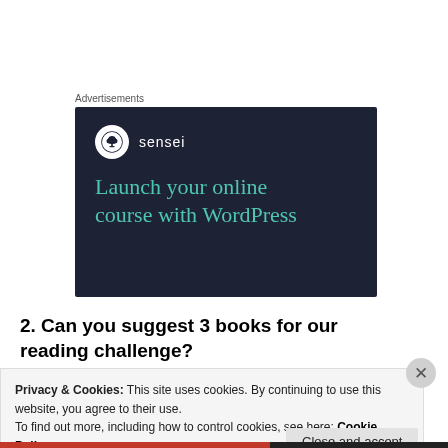Advertisements
[Figure (illustration): Sensei advertisement banner with dark navy background. Shows Sensei logo (white circle with tree icon) and brand name 'sensei', with headline text 'Launch your online course with WordPress' in teal/green color.]
2. Can you suggest 3 books for our reading challenge?
Privacy & Cookies: This site uses cookies. By continuing to use this website, you agree to their use.
To find out more, including how to control cookies, see here: Cookie Policy
Close and accept